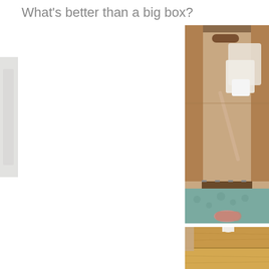What's better than a big box?
[Figure (photo): Overhead view of an open large cardboard box with bubble wrap and packaging materials inside, and a child partially visible underneath the box]
[Figure (photo): Close-up view of wooden floor/furniture near cardboard box bottom]